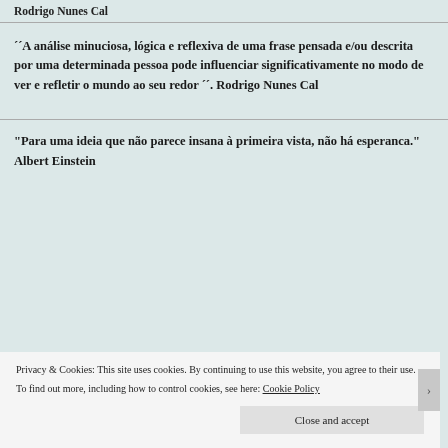Rodrigo Nunes Cal
´´A análise minuciosa, lógica e reflexiva de uma frase pensada e/ou descrita por uma determinada pessoa pode influenciar significativamente no modo de ver e refletir o mundo ao seu redor ´´. Rodrigo Nunes Cal
"Para uma ideia que não parece insana à primeira vista, não há esperanca." Albert Einstein
Privacy & Cookies: This site uses cookies. By continuing to use this website, you agree to their use.
To find out more, including how to control cookies, see here: Cookie Policy
Close and accept